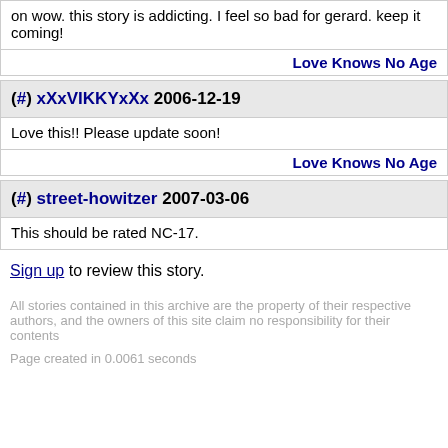on wow. this story is addicting. I feel so bad for gerard. keep it coming!
Love Knows No Age
(#) xXxVIKKYxXx 2006-12-19
Love this!! Please update soon!
Love Knows No Age
(#) street-howitzer 2007-03-06
This should be rated NC-17.
Sign up to review this story.
All stories contained in this archive are the property of their respective authors, and the owners of this site claim no responsibility for their contents
Page created in 0.0061 seconds